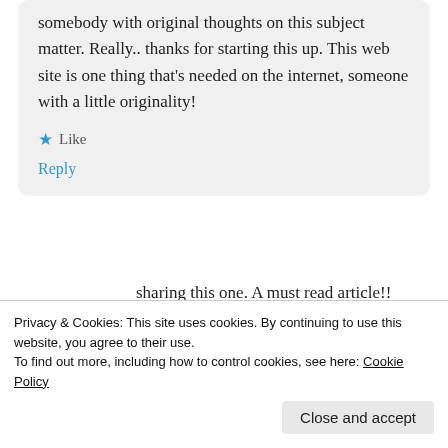somebody with original thoughts on this subject matter. Really.. thanks for starting this up. This web site is one thing that's needed on the internet, someone with a little originality!
★ Like
Reply
[Figure (illustration): Blue geometric snowflake/star pattern avatar circle for user Esmeralda]
Esmeralda
May 31, 2020 at 5:34 AM
Privacy & Cookies: This site uses cookies. By continuing to use this website, you agree to their use.
To find out more, including how to control cookies, see here: Cookie Policy
Close and accept
sharing this one. A must read article!!